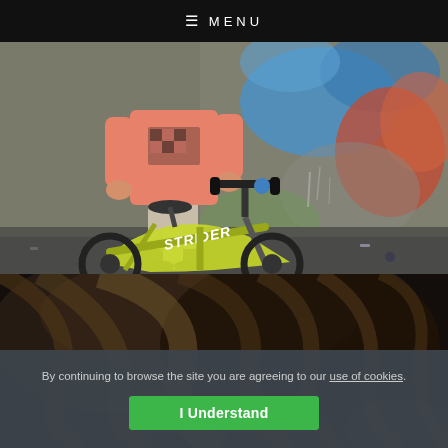≡ MENU
[Figure (photo): Child wearing a pink MTV Music Television t-shirt and grey shorts, standing with a yellow Strider balance bike in front of a colorful graffiti wall]
[Figure (photo): Close-up dark blurred photo of a child's brown hair in motion against a dark background]
By continuing to browse the site you are agreeing to our use of cookies.
I Understand